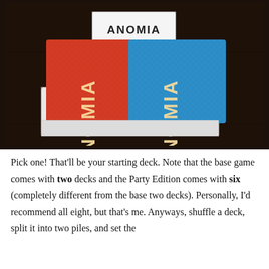[Figure (photo): Photo of Anomia card game box with two decks of cards visible: one red deck labeled ANOMIA and one blue deck labeled ANOMIA, sitting on a dark wooden table with the game's instruction booklet visible in the background.]
Pick one! That'll be your starting deck. Note that the base game comes with two decks and the Party Edition comes with six (completely different from the base two decks). Personally, I'd recommend all eight, but that's me. Anyways, shuffle a deck, split it into two piles, and set the